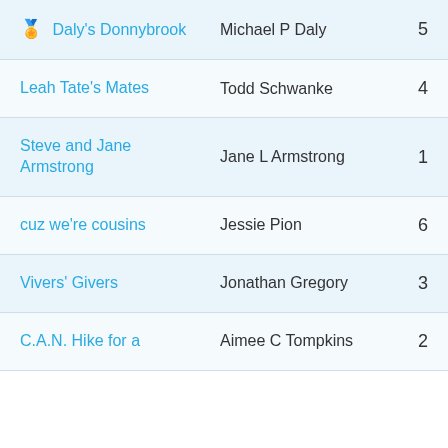| Team | Person | Number |
| --- | --- | --- |
| 🏅 Daly's Donnybrook | Michael P Daly | 5 |
| Leah Tate's Mates | Todd Schwanke | 4 |
| Steve and Jane Armstrong | Jane L Armstrong | 1 |
| cuz we're cousins | Jessie Pion | 6 |
| Vivers' Givers | Jonathan Gregory | 3 |
| C.A.N. Hike for a | Aimee C Tompkins | 2 |